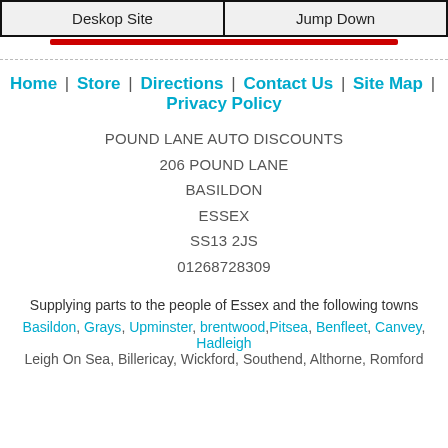Deskop Site | Jump Down
Home | Store | Directions | Contact Us | Site Map | Privacy Policy
POUND LANE AUTO DISCOUNTS
206 POUND LANE
BASILDON
ESSEX
SS13 2JS
01268728309
Supplying parts to the people of Essex and the following towns
Basildon, Grays, Upminster, brentwood, Pitsea, Benfleet, Canvey, Hadleigh
Leigh On Sea, Billericay, Wickford, Southend, Althorne, Romford